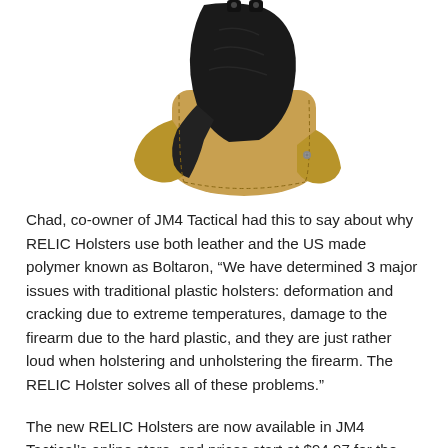[Figure (photo): A RELIC holster product photo showing a black and tan (coyote brown) leather and polymer gun holster viewed from behind, with black Boltaron polymer shell on top and tan leather base, set against a white background.]
Chad, co-owner of JM4 Tactical had this to say about why RELIC Holsters use both leather and the US made polymer known as Boltaron, “We have determined 3 major issues with traditional plastic holsters: deformation and cracking due to extreme temperatures, damage to the firearm due to the hard plastic, and they are just rather loud when holstering and unholstering the firearm. The RELIC Holster solves all of these problems.”
The new RELIC Holsters are now available in JM4 Tactical’s online store, and prices start at $94.97 for the Appendix, Tuckable IWB, and Paddle models, with the Hybrid coming in at $109.97.